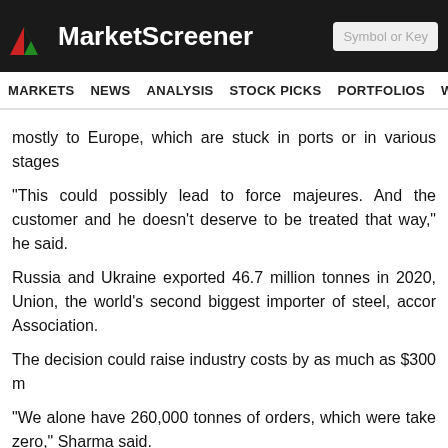MarketScreener
mostly to Europe, which are stuck in ports or in various stages
"This could possibly lead to force majeures. And the customer and he doesn't deserve to be treated that way," he said.
Russia and Ukraine exported 46.7 million tonnes in 2020, Union, the world's second biggest importer of steel, accor Association.
The decision could raise industry costs by as much as $300 m
"We alone have 260,000 tonnes of orders, which were take zero," Sharma said.
JSPL, India's fifth largest crude steel producer which compe